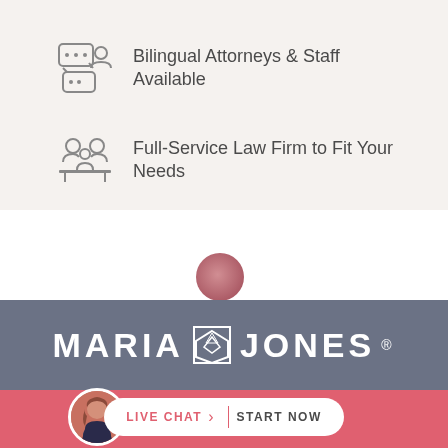Bilingual Attorneys & Staff Available
Full-Service Law Firm to Fit Your Needs
[Figure (logo): Maria Jones law firm logo with shield/badge emblem in white on dark blue-gray background]
LIVE CHAT  START NOW